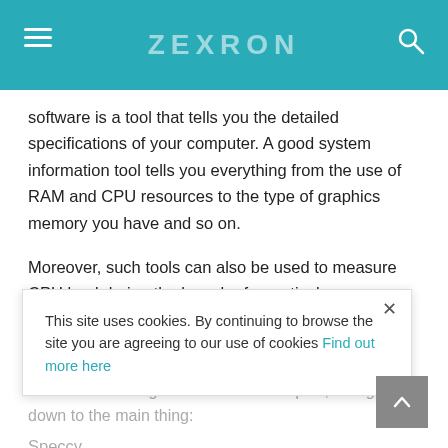ZEXRON
software is a tool that tells you the detailed specifications of your computer. A good system information tool tells you everything from the use of RAM and CPU resources to the type of graphics memory you have and so on.
Moreover, such tools can also be used to measure CPU load during the launch of a particular application, comparing the workload of two different applications and many other things.
Now that we've figured out the techniques, let's get down to the main thing:
Speccy
Pros:
This site uses cookies. By continuing to browse the site you are agreeing to our use of cookies Find out more here